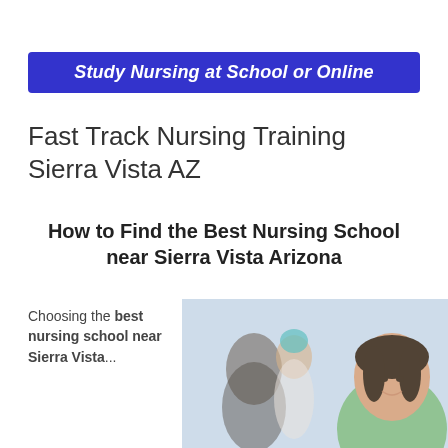[Figure (other): Blue banner with white bold italic text: Study Nursing at School or Online]
Fast Track Nursing Training Sierra Vista AZ
How to Find the Best Nursing School near Sierra Vista Arizona
Choosing the best nursing school near Sierra Vista...
[Figure (photo): Photo of smiling female nurse in green scrubs in foreground, with blurred medical staff in background]